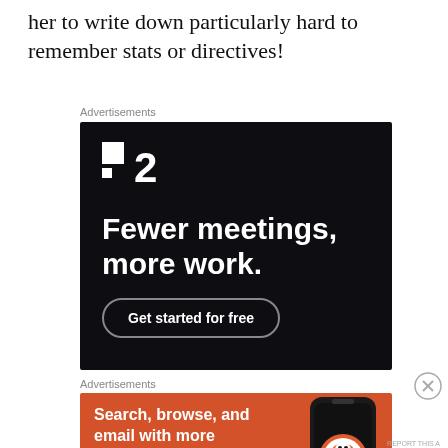her to write down particularly hard to remember stats or directives!
Advertisements
[Figure (illustration): Dark-themed advertisement for F2 project management tool. Shows logo 'F2' with two squares, headline 'Fewer meetings, more work.' and a 'Get started for free' button on dark background.]
Advertisements
[Figure (illustration): Orange-themed DuckDuckGo advertisement. Shows text 'Search, browse, and email with more privacy.' with 'All in One Free App' pill button and DuckDuckGo logo with a smartphone mockup.]